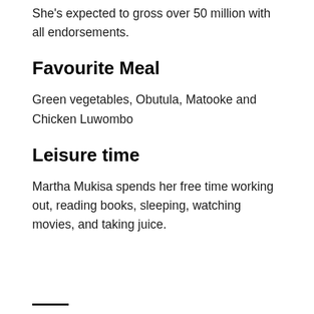She's expected to gross over 50 million with all endorsements.
Favourite Meal
Green vegetables, Obutula, Matooke and Chicken Luwombo
Leisure time
Martha Mukisa spends her free time working out, reading books, sleeping, watching movies, and taking juice.